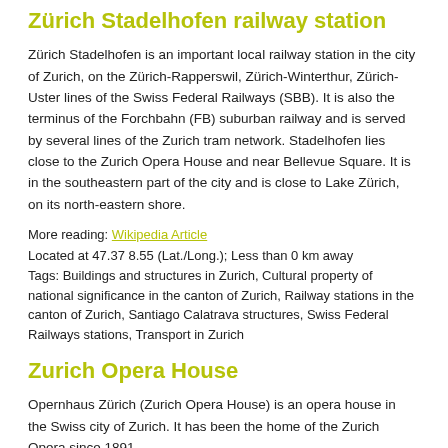Zürich Stadelhofen railway station
Zürich Stadelhofen is an important local railway station in the city of Zurich, on the Zürich-Rapperswil, Zürich-Winterthur, Zürich-Uster lines of the Swiss Federal Railways (SBB). It is also the terminus of the Forchbahn (FB) suburban railway and is served by several lines of the Zurich tram network. Stadelhofen lies close to the Zurich Opera House and near Bellevue Square. It is in the southeastern part of the city and is close to Lake Zürich, on its north-eastern shore.
More reading: Wikipedia Article
Located at 47.37 8.55 (Lat./Long.); Less than 0 km away
Tags: Buildings and structures in Zurich, Cultural property of national significance in the canton of Zurich, Railway stations in the canton of Zurich, Santiago Calatrava structures, Swiss Federal Railways stations, Transport in Zurich
Zurich Opera House
Opernhaus Zürich (Zurich Opera House) is an opera house in the Swiss city of Zurich. It has been the home of the Zurich Opera since 1891.